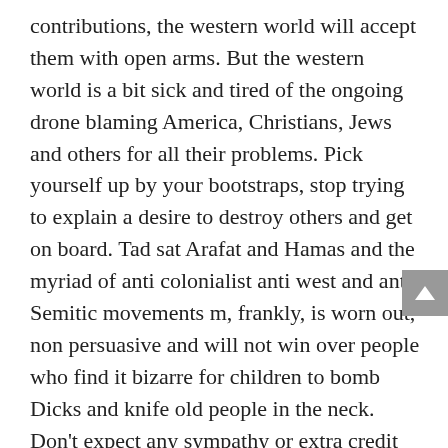contributions, the western world will accept them with open arms. But the western world is a bit sick and tired of the ongoing drone blaming America, Christians, Jews and others for all their problems. Pick yourself up by your bootstraps, stop trying to explain a desire to destroy others and get on board. Tad sat Arafat and Hamas and the myriad of anti colonialist anti west and anti Semitic movements m, frankly, is worn out, non persuasive and will not win over people who find it bizarre for children to bomb Dicks and knife old people in the neck. Don't expect any sympathy or extra credit for this kind uv conduct. The great masses in those societies need to take the lead and act like normal human adults. You can use